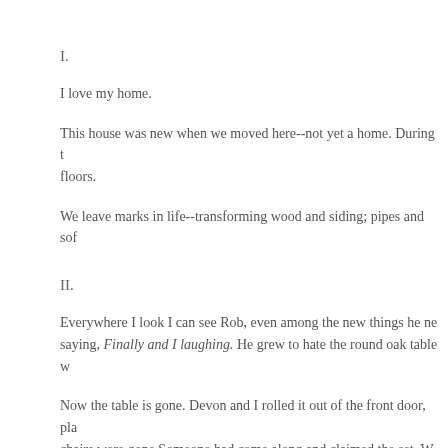I.
I love my home.
This house was new when we moved here--not yet a home. During t floors.
We leave marks in life--transforming wood and siding; pipes and sof
II.
Everywhere I look I can see Rob, even among the new things he ne saying, Finally and I laughing. He grew to hate the round oak table w
Now the table is gone. Devon and I rolled it out of the front door, pla chairs were gone.Someone had come along and claimed the set. W die.
And thinking of this imagined exchange between Rob and me helps can place him at the table--a cup of coffee before him in the Black D tied back with whatever piece of leather was handy, but I strain to he